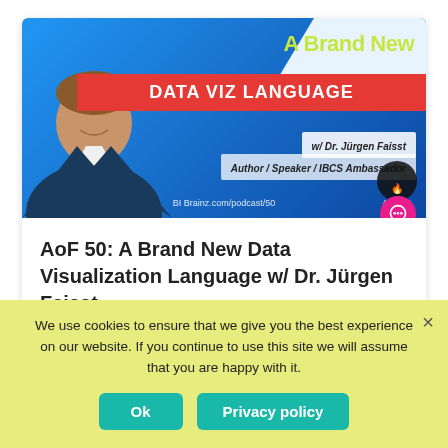[Figure (illustration): Podcast episode banner with blue background. Shows a man smiling in a suit jacket. Text reads 'A Brand New DATA VIZ LANGUAGE w/ Dr. Jürgen Faisst Author / Speaker / IBCS Ambassador'. BI Brainz branding and analytics flame logo visible.]
AoF 50: A Brand New Data Visualization Language w/ Dr. Jürgen Faisst
We use cookies to ensure that we give you the best experience on our website. If you continue to use this site we will assume that you are happy with it.